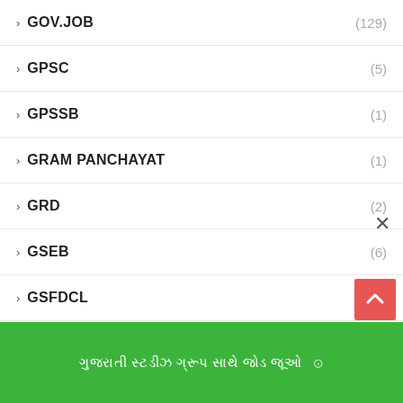GOV.JOB (129)
GPSC (5)
GPSSB (1)
GRAM PANCHAYAT (1)
GRD (2)
GSEB (6)
GSFDCL (1)
GSRTC (6)
GSSSB (1)
GUJARAT BUDGET (1)
GUJARATI LAGAN GEET (1)
GUJARATI SAHITYA KHAJANO
ગુજરાતી સ્ટડીઝ ગ્રૂપ સાથે જોડ